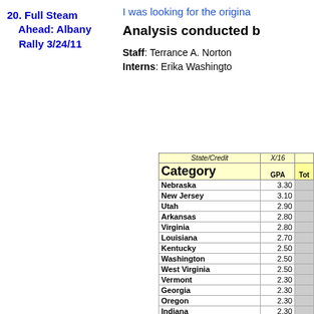20. Full Steam Ahead: Albany Rally 3/24/11
I was looking for the origina...
Analysis conducted b...
Staff: Terrance A. Norton...
Interns: Erika Washingto...
| State/Credit | X/16 |  |
| --- | --- | --- |
| Nebraska | 3.30 |  |
| New Jersey | 3.10 |  |
| Utah | 2.90 |  |
| Arkansas | 2.80 |  |
| Virginia | 2.80 |  |
| Louisiana | 2.70 |  |
| Kentucky | 2.50 |  |
| Washington | 2.50 |  |
| West Virginia | 2.50 |  |
| Vermont | 2.30 |  |
| Georgia | 2.30 |  |
| Oregon | 2.30 |  |
| Indiana | 2.30 |  |
| Michigan | 2.30 |  |
| Rhode Island | 2.20 |  |
| South Carolina | 2.10 |  |
| Connecticut | 2.00 |  |